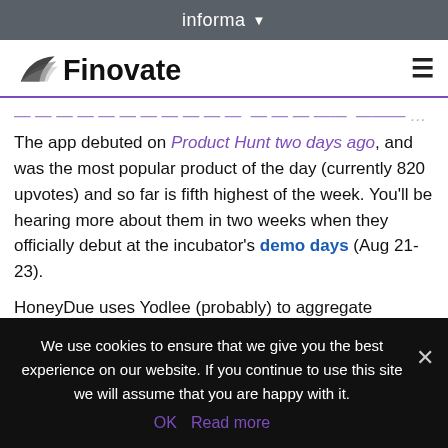informa ▾
[Figure (logo): Finovate logo with stylized wing/arrow mark and hamburger menu icon]
The app debuted on Product Hunt two days ago, and was the most popular product of the day (currently 820 upvotes) and so far is fifth highest of the week. You'll be hearing more about them in two weeks when they officially debut at the incubator's demo days (Aug 21-23).
HoneyDue uses Yodlee (probably) to aggregate transaction accounts across multiple FIs into one mobile app. Then it provides tools to make it easy to
We use cookies to ensure that we give you the best experience on our website. If you continue to use this site we will assume that you are happy with it.